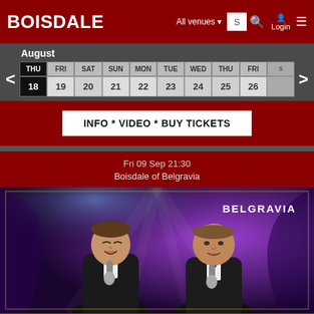BOISDALE — All venues — Login
August
| THU | FRI | SAT | SUN | MON | TUE | WED | THU | FRI | SAT |
| --- | --- | --- | --- | --- | --- | --- | --- | --- | --- |
| 18 | 19 | 20 | 21 | 22 | 23 | 24 | 25 | 26 | 27 |
INFO * VIDEO * BUY TICKETS
Fri 09 Sep 21:30
Boisdale of Belgravia
[Figure (photo): Two male performers in tuxedos singing into microphones on a stage with purple lighting and a 'BELGRAVIA' watermark in the top right corner]